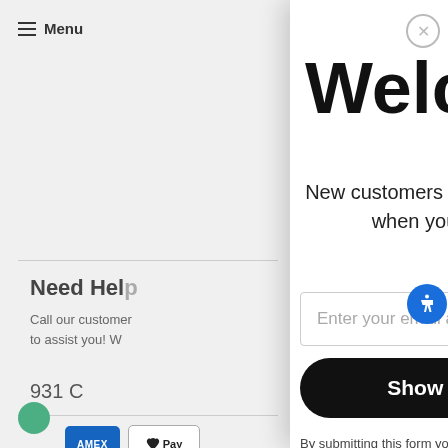Menu
Welcome!
New customers get 10% off their first order when you join our email list!
Enter your email address
Show Me The Code!
By submitting this form you are opting in to receive emails from Epoca, makers of Primula
Need Help
Call our customer … to assist you! W
931 C